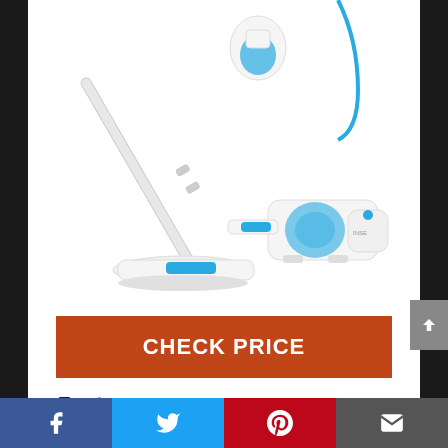[Figure (photo): White and blue stick vacuum cleaner shown in upright position alongside a handheld vacuum unit, both on white background]
CHECK PRICE
Feature
Social sharing bar with Facebook, Twitter, Pinterest, and Email icons